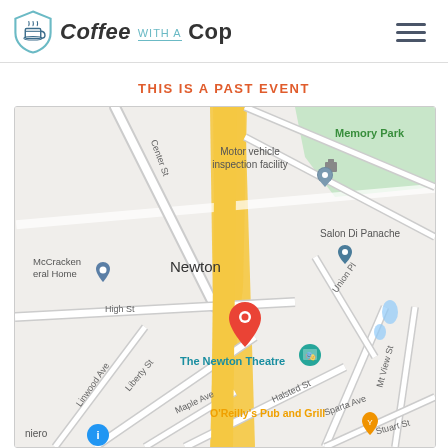Coffee with a Cop
THIS IS A PAST EVENT
[Figure (map): Google Maps screenshot showing Newton, NJ area with a red pin at The Newton Theatre, teal icon nearby, and surrounding streets including High St, Liberty St, Halsted St, Center St, Union Pl, Linwood Ave, Maple Ave, and landmarks including Motor vehicle inspection facility, Salon Di Panache, McCracken Funeral Home, O'Reilly's Pub and Grill, Memory Park.]